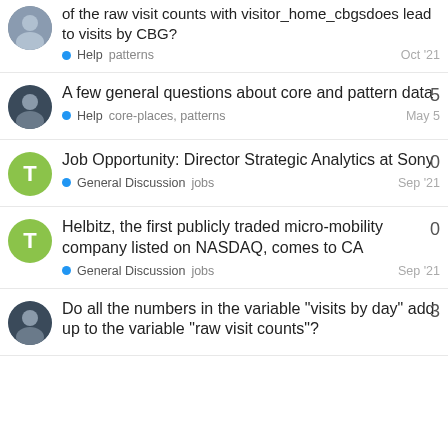of the raw visit counts with visitor_home_cbgsdoes lead to visits by CBG? • Help  patterns  Oct '21
A few general questions about core and pattern data • Help  core-places, patterns  May 5  [replies: 5]
Job Opportunity: Director Strategic Analytics at Sony • General Discussion  jobs  Sep '21  [replies: 0]
Helbitz, the first publicly traded micro-mobility company listed on NASDAQ, comes to CA • General Discussion  jobs  Sep '21  [replies: 0]
Do all the numbers in the variable "visits by day" add up to the variable "raw visit counts"?  [replies: 3]